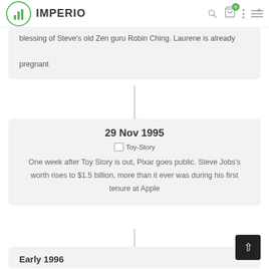IMPERIO
blessing of Steve's old Zen guru Robin Ching. Laurene is already pregnant
29 Nov 1995
One week after Toy Story is out, Pixar goes public. Steve Jobs's worth rises to $1.5 billion, more than it ever was during his first tenure at Apple
Early 1996